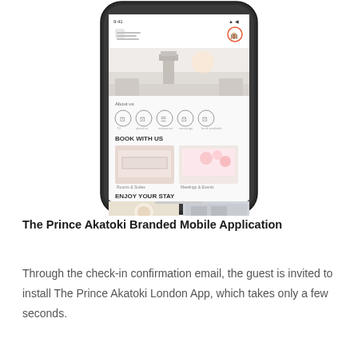[Figure (screenshot): A smartphone (iPhone X style) displaying The Prince Akatoki hotel branded mobile application. The app screen shows a hotel logo, a banner image of Big Ben and the Thames, 'About us' section with service icons, 'BOOK WITH US' section with two images labeled 'Rooms & Suites' and 'Meetings & Events', and 'ENJOY YOUR STAY' section at the bottom.]
The Prince Akatoki Branded Mobile Application
Through the check-in confirmation email, the guest is invited to install The Prince Akatoki London App, which takes only a few seconds.